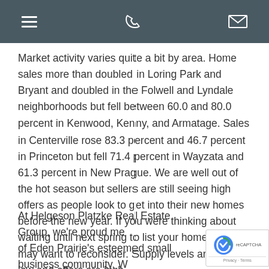[hamburger menu icon] [phone icon] [email icon]
Market activity varies quite a bit by area. Home sales more than doubled in Loring Park and Bryant and doubled in the Folwell and Lyndale neighborhoods but fell between 60.0 and 80.0 percent in Kenwood, Kenny, and Armatage. Sales in Centerville rose 83.3 percent and 46.7 percent in Princeton but fell 71.4 percent in Wayzata and 61.3 percent in New Prague. We are well out of the hot season but sellers are still seeing high offers as people look to get into their new homes before the new year. If you were thinking about waiting until next spring to list your home, you may want to reconsider. Supply levels are very low and offers are high.
At Helgeson Platzke Real Estate Group, we're proud me of Eden Prairie's esteemed small business community. W offered the very best in Twin Cities real estate since 1995,